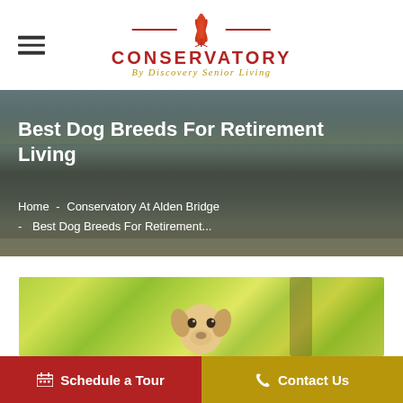Conservatory By Discovery Senior Living
Best Dog Breeds For Retirement Living
Home - Conservatory At Alden Bridge - Best Dog Breeds For Retirement...
[Figure (photo): Photo of a dog looking up outdoors with green bokeh background]
Schedule a Tour
Contact Us